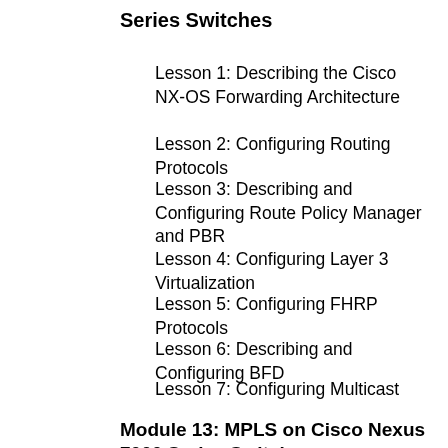Series Switches
Lesson 1: Describing the Cisco NX-OS Forwarding Architecture
Lesson 2: Configuring Routing Protocols
Lesson 3: Describing and Configuring Route Policy Manager and PBR
Lesson 4: Configuring Layer 3 Virtualization
Lesson 5: Configuring FHRP Protocols
Lesson 6: Describing and Configuring BFD
Lesson 7: Configuring Multicast
Module 13: MPLS on Cisco Nexus 7000 Series Switches
Lesson 1: Describing MPLS